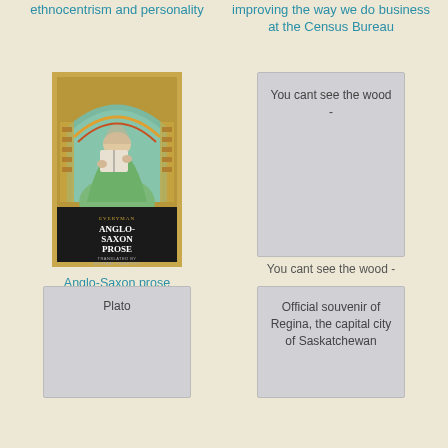ethnocentrism and personality
improving the way we do business at the Census Bureau
[Figure (illustration): Book cover of Anglo-Saxon Prose, Everyman edition, translated by Michael Swanton. Shows a medieval illuminated manuscript illustration of a monk writing.]
[Figure (other): Gray placeholder card with text: You cant see the wood -]
Anglo-Saxon prose
You cant see the wood -
[Figure (other): Gray placeholder card with text: Plato]
[Figure (other): Gray placeholder card with text: Official souvenir of Regina, the capital city of Saskatchewan]